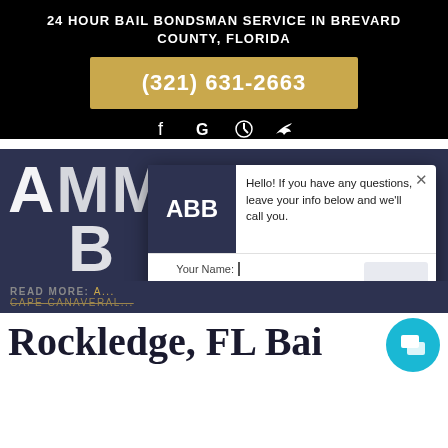24 HOUR BAIL BONDSMAN SERVICE IN BREVARD COUNTY, FLORIDA
(321) 631-2663
[Figure (infographic): Social media icons: Facebook, Google, Yelp, Twitter]
[Figure (infographic): Large hero text partially visible: AMMEDIATE B... on dark blue background]
[Figure (screenshot): Chat popup with ABB logo, message: Hello! If you have any questions, leave your info below and we'll call you. Form fields: Your Name, Cell Phone, Comments. Send button.]
READ MORE: A... CAPE CANAVERAL...
Rockledge, FL Bai...